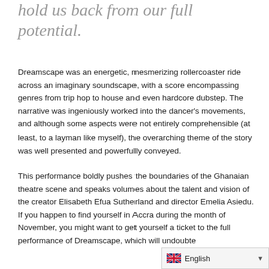hold us back from our full potential.
Dreamscape was an energetic, mesmerizing rollercoaster ride across an imaginary soundscape, with a score encompassing genres from trip hop to house and even hardcore dubstep. The narrative was ingeniously worked into the dancer's movements, and although some aspects were not entirely comprehensible (at least, to a layman like myself), the overarching theme of the story was well presented and powerfully conveyed.
This performance boldly pushes the boundaries of the Ghanaian theatre scene and speaks volumes about the talent and vision of the creator Elisabeth Efua Sutherland and director Emelia Asiedu. If you happen to find yourself in Accra during the month of November, you might want to get yourself a ticket to the full performance of Dreamscape, which will undoubte...